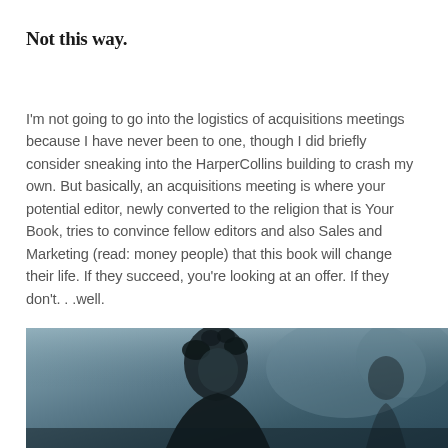Not this way.
I'm not going to go into the logistics of acquisitions meetings because I have never been to one, though I did briefly consider sneaking into the HarperCollins building to crash my own. But basically, an acquisitions meeting is where your potential editor, newly converted to the religion that is Your Book, tries to convince fellow editors and also Sales and Marketing (read: money people) that this book will change their life. If they succeed, you're looking at an offer. If they don't. . .well.
[Figure (photo): A person with curly/messy dark hair in a misty or foggy outdoor scene, appears to be a still from a TV show or movie (Game of Thrones-style aesthetic).]